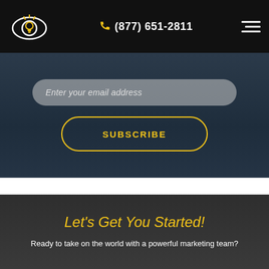[Figure (screenshot): Website navigation bar with a lightbulb eye logo on the left, phone number (877) 651-2811 in the center, and hamburger menu icon on the right, on a black background]
Enter your email address
SUBSCRIBE
Let's Get You Started!
Ready to take on the world with a powerful marketing team?